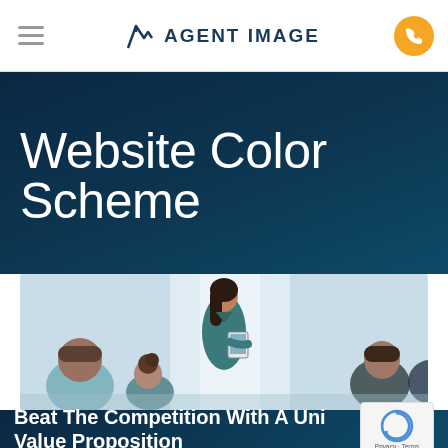Agent Image (navigation bar with hamburger menu, logo, and phone button)
Website Color Scheme
[Figure (photo): Business meeting photo: a woman in a teal dress presenting to colleagues in an office setting]
Beat The Competition With A Unique Value Proposition